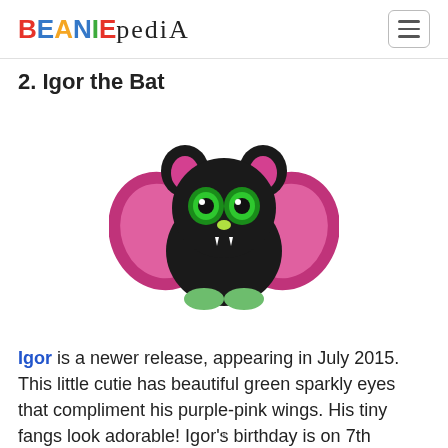BEANIEPEDIA
2. Igor the Bat
[Figure (photo): Plush black bat Beanie Boo named Igor with large green sparkly eyes, pink-purple shiny wings, small white fangs, and green feet.]
Igor is a newer release, appearing in July 2015. This little cutie has beautiful green sparkly eyes that compliment his purple-pink wings. His tiny fangs look adorable! Igor's birthday is on 7th September